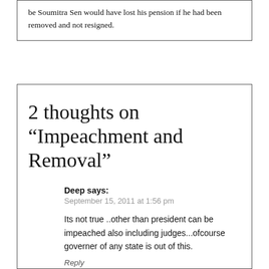be Soumitra Sen would have lost his pension if he had been removed and not resigned.
2 thoughts on “Impeachment and Removal”
Deep says:
September 15, 2011 at 1:56 pm
Its not true ..other than president can be impeached also including judges...ofcourse governer of any state is out of this.
Reply